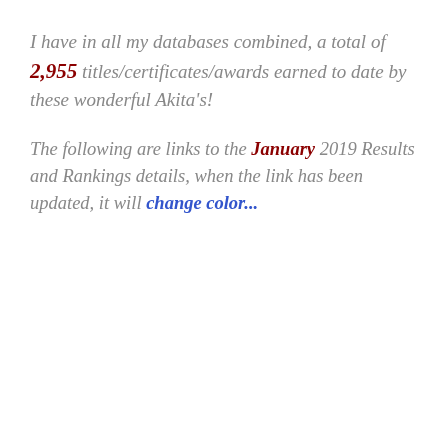I have in all my databases combined, a total of 2,955 titles/certificates/awards earned to date by these wonderful Akita's!
The following are links to the January 2019 Results and Rankings details, when the link has been updated, it will change color...